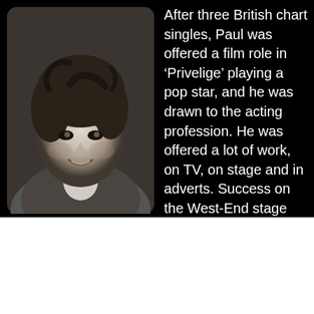[Figure (photo): Black and white portrait photograph of a young man with curly/wavy hair, smiling, wearing a blazer and open-collar shirt. Photo has rounded corners and is set against a black background.]
After three British chart singles, Paul was offered a film role in ‘Privelige’ playing a pop star, and he was drawn to the acting profession. He was offered a lot of work, on TV, on stage and in adverts. Success on the West-End stage meant Paul pretty much abandoned his recording career for a life in musicals, although he also took dramatic roles, including in ‘Conduct Unbecoming’ which